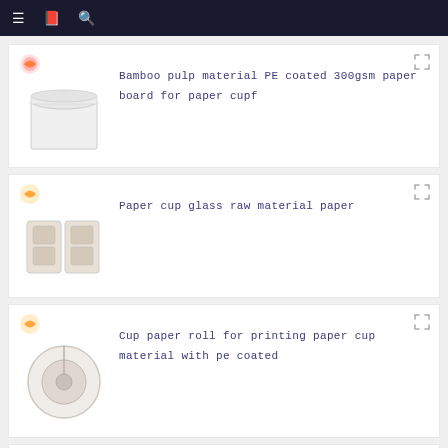Navigation bar with menu, catalog, and search icons
Bamboo pulp material PE coated 300gsm paper board for paper cupf
Paper cup glass raw material paper
Cup paper roll for printing paper cup material with pe coated
food grade PE Coated Paper Cup Roll for paper cup fan